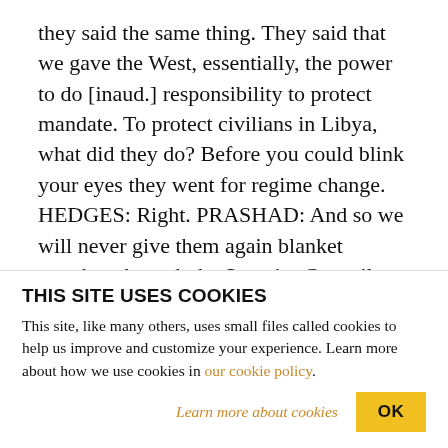they said the same thing. They said that we gave the West, essentially, the power to do [inaud.] responsibility to protect mandate. To protect civilians in Libya, what did they do? Before you could blink your eyes they went for regime change. HEDGES: Right. PRASHAD: And so we will never give them again blanket mandate through the Security Council. That's why Syria would never receive any R-to-P mandate. You know, under Chapter 7 of the UN Charter, use of force. They will never get it. Why? Because they thought that Obama
THIS SITE USES COOKIES
This site, like many others, uses small files called cookies to help us improve and customize your experience. Learn more about how we use cookies in our cookie policy.
Learn more about cookies   OK